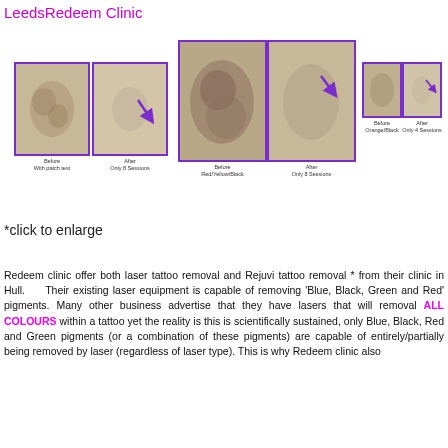LeedsRedeem Clinic
[Figure (photo): Before and after tattoo removal photos: pair 1 (with patch test, after only 8 sessions), pair 2 (Red/Yellow/Black, after only 8 sessions), pair 3 (Orange/Black, after only 4 sessions), all bordered in purple]
*click to enlarge
Redeem clinic offer both laser tattoo removal and Rejuvi tattoo removal * from their clinic in Hull. Their existing laser equipment is capable of removing ‘Blue, Black, Green and Red’ pigments. Many other business advertise that they have lasers that will removal ALL COLOURS within a tattoo yet the reality is this is scientifically sustained, only Blue, Black, Red and Green pigments (or a combination of these pigments) are capable of entirely/partially being removed by laser (regardless of laser type). This is why Redeem clinic also